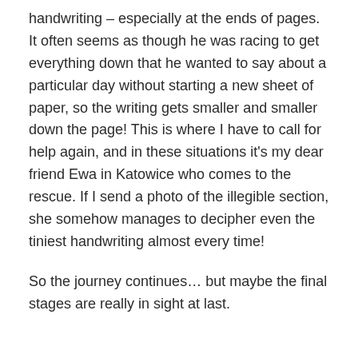handwriting – especially at the ends of pages. It often seems as though he was racing to get everything down that he wanted to say about a particular day without starting a new sheet of paper, so the writing gets smaller and smaller down the page! This is where I have to call for help again, and in these situations it's my dear friend Ewa in Katowice who comes to the rescue. If I send a photo of the illegible section, she somehow manages to decipher even the tiniest handwriting almost every time!
So the journey continues… but maybe the final stages are really in sight at last.